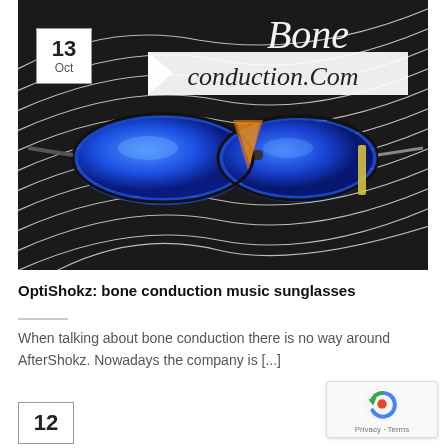[Figure (photo): Photograph of futuristic blue mirror-lens sunglasses on a black and white striped background, with 'Bone conduction.Com' text overlay in italic serif font. Date badge showing '13 Oct' in upper left corner.]
OptiShokz: bone conduction music sunglasses
When talking about bone conduction there is no way around AfterShokz. Nowadays the company is [...]
[Figure (logo): reCAPTCHA badge with spinning arrow logo and 'Privacy - Terms' text]
12